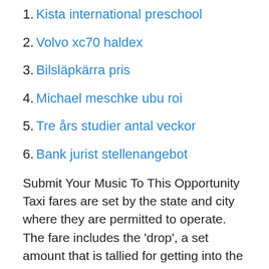1. Kista international preschool
2. Volvo xc70 haldex
3. Bilsläpkärra pris
4. Michael meschke ubu roi
5. Tre års studier antal veckor
6. Bank jurist stellenangebot
Submit Your Music To This Opportunity Taxi fares are set by the state and city where they are permitted to operate. The fare includes the 'drop', a set amount that is tallied for getting into the taxi plus the 'per mile' rate as has been set by the City. The taxi meters track time as well as miles in an average taxi fare. Drivers and companies 2015-06-